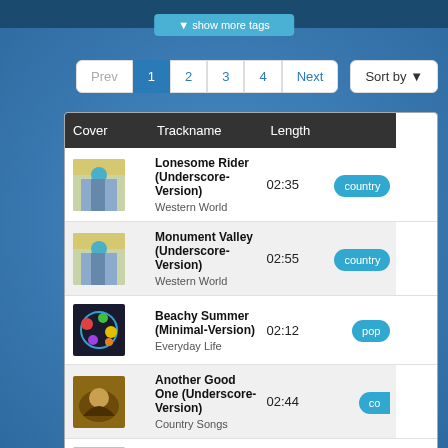show more tags
Prev  1  2  3  4  Next  Sort by
| Cover | Trackname | Length |  |
| --- | --- | --- | --- |
| [img] | Lonesome Rider (Underscore-Version)
Western World | 02:35 | country |
| [img] | Monument Valley (Underscore-Version)
Western World | 02:55 | country |
| [img] | Beachy Summer (Minimal-Version)
Everyday Life | 02:12 | pop |
| [img] | Another Good One (Underscore-Version)
Country Songs | 02:44 | co... |
| [img] | Wild World
Western World | 03:20 | country |
| [img] | Happy Mornings | 02:51 |  |